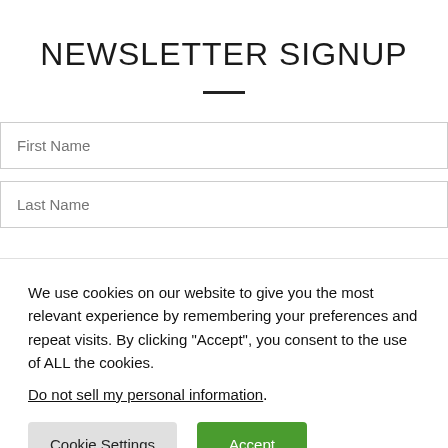NEWSLETTER SIGNUP
We use cookies on our website to give you the most relevant experience by remembering your preferences and repeat visits. By clicking “Accept”, you consent to the use of ALL the cookies.
Do not sell my personal information.